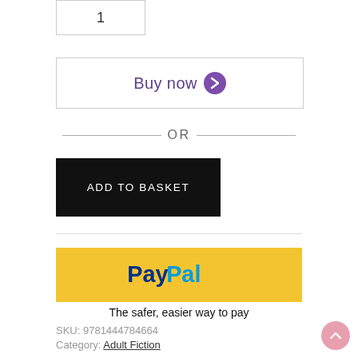1
Buy now ❯
— OR —
ADD TO BASKET
[Figure (logo): PayPal payment button with yellow background and PayPal logo]
The safer, easier way to pay
SKU: 9781444784664
Category: Adult Fiction